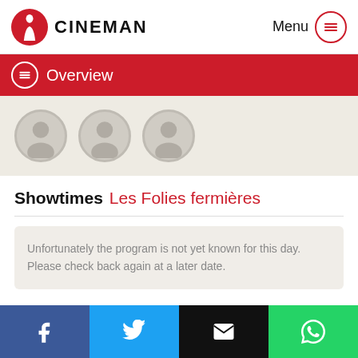CINEMAN | Menu
Overview
[Figure (illustration): Three circular user avatar placeholder icons in a beige/tan row]
Showtimes Les Folies fermières
Unfortunately the program is not yet known for this day. Please check back again at a later date.
Now in the cinema 6 from 34 Movies
Facebook | Twitter | Email | WhatsApp